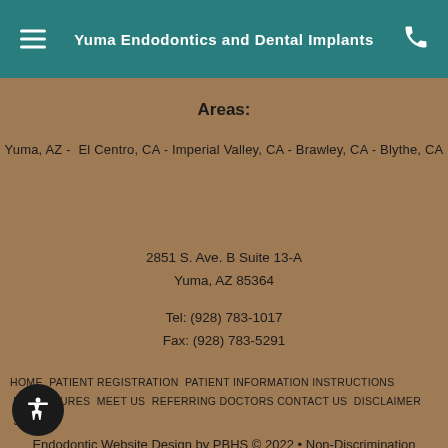Yuma Endodontics and Dental Implants
Areas:
Yuma, AZ -  El Centro, CA - Imperial Valley, CA - Brawley, CA - Blythe, CA
2851 S. Ave. B Suite 13-A
Yuma, AZ 85364
Tel: (928) 783-1017
Fax: (928) 783-5291
HOME  PATIENT REGISTRATION  PATIENT INFORMATION INSTRUCTIONS  PROCEDURES  MEET US  REFERRING DOCTORS  CONTACT US  DISCLAIMER  SITEMAP
Endodontic Website Design by PBHS © 2022 • Non-Discrimination Notice